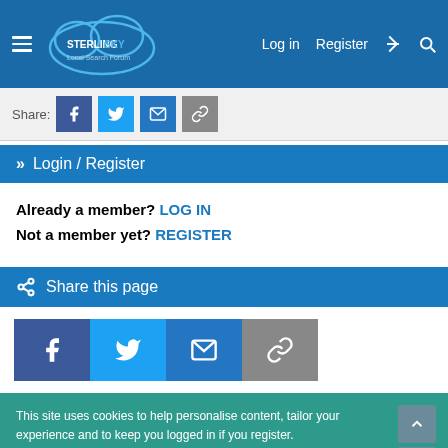Sterling Sky Local Search Forum — Log in | Register
Share:
» Login / Register
Already a member? LOG IN
Not a member yet? REGISTER
Share this page
[Figure (other): Share buttons: Facebook, Twitter, Email, Link]
This site uses cookies to help personalise content, tailor your experience and to keep you logged in if you register.
By continuing to use this site, you are consenting to our use of cookies.
✓ Accept   Learn more...